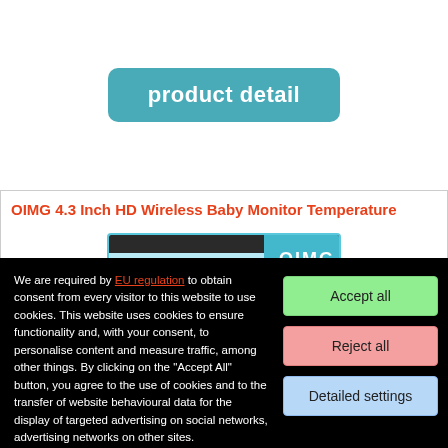[Figure (screenshot): Button labeled 'product detail' with teal/cyan rounded rectangle background]
OIMG 4.3 Inch HD Wireless Baby Monitor Temperature
[Figure (photo): Product image showing OIMG baby monitor camera and screen displaying a sleeping baby, with OIMG branding on teal background]
We are required by EU regulation to obtain consent from every visitor to this website to use cookies. This website uses cookies to ensure functionality and, with your consent, to personalise content and measure traffic, among other things. By clicking on the "Accept All" button, you agree to the use of cookies and to the transfer of website behavioural data for the display of targeted advertising on social networks, advertising networks on other sites.
Accept all
Reject all
Detailed settings